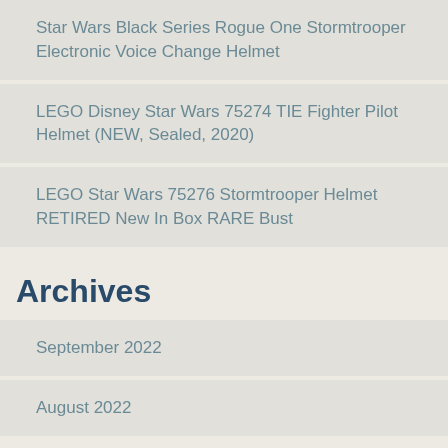Star Wars Black Series Rogue One Stormtrooper Electronic Voice Change Helmet
LEGO Disney Star Wars 75274 TIE Fighter Pilot Helmet (NEW, Sealed, 2020)
LEGO Star Wars 75276 Stormtrooper Helmet RETIRED New In Box RARE Bust
Archives
September 2022
August 2022